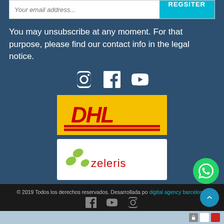Your email address
REGSITER
You may unsubscribe at any moment. For that purpose, please find our contact info in the legal notice.
[Figure (logo): Social media icons: Instagram, Facebook, YouTube]
[Figure (logo): DHL logo on yellow background]
[Figure (logo): Zeleris logo on white background with green dots]
© 2019 Todos los derechos reservados. Desarrollada por digital agency barcelona.
[Figure (logo): Footer social icons: Facebook, YouTube, Instagram]
[Figure (logo): WhatsApp floating button]
[Figure (logo): Scroll-to-top arrow button]